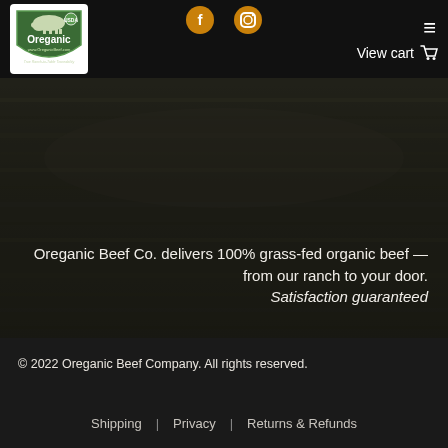[Figure (logo): Oreganic Beef Co. logo — green shield with cow, 'Oreganic' text, True Ranch-to-Table Traceability tagline]
[Figure (logo): Social media icons — Facebook and Instagram circular icons in orange/gold]
View cart
[Figure (photo): Dark background hero image showing wood planks/stacked logs texture, dimly lit]
Oreganic Beef Co. delivers 100% grass-fed organic beef — from our ranch to your door. Satisfaction guaranteed
© 2022 Oreganic Beef Company. All rights reserved.
Shipping | Privacy | Returns & Refunds